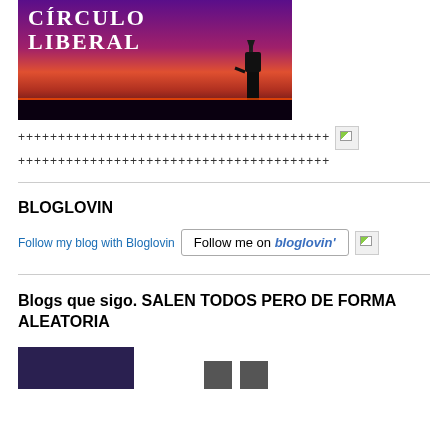[Figure (photo): Blog header image with purple/pink sunset sky, Statue of Liberty silhouette, and text 'CIRCULO LIBERAL' in white serif font]
+++++++++++++++++++++++++++++++++++++++ [image] +++++++++++++++++++++++++++++++++++++++
BLOGLOVIN
Follow my blog with Bloglovin  [Follow me on bloglovin'] [image]
Blogs que sigo. SALEN TODOS PERO DE FORMA ALEATORIA
[Figure (photo): Dark purple/navy colored image thumbnail at bottom left]